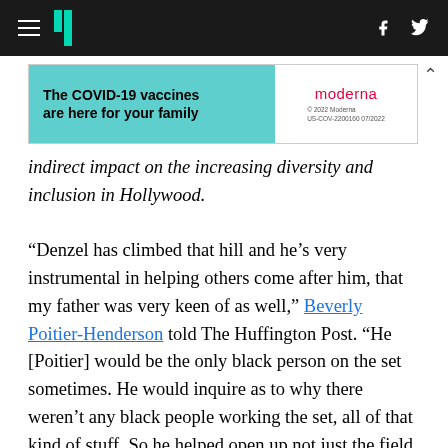HuffPost navigation with hamburger menu, logo, Facebook and Twitter icons
[Figure (other): Moderna COVID-19 vaccine advertisement banner: 'The COVID-19 vaccines are here for your family' with Moderna logo and fine print]
indirect impact on the increasing diversity and inclusion in Hollywood.

“Denzel has climbed that hill and he’s very instrumental in helping others come after him, that my father was very keen of as well,” Beverly Poitier-Henderson told The Huffington Post. “He [Poitier] would be the only black person on the set sometimes. He would inquire as to why there weren’t any black people working the set, all of that kind of stuff. So he helped open up not just the field of acting, but the movie industry in general.”